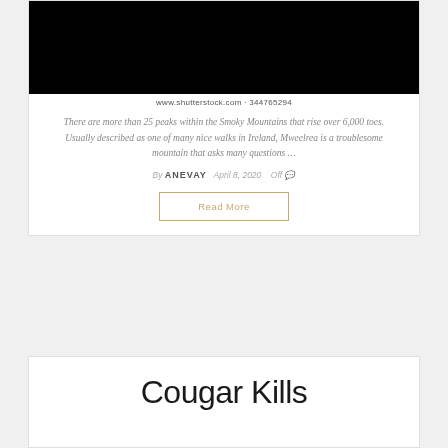[Figure (photo): Black rectangle representing a photo (image blacked out), with credit text below: www.shutterstock.com · 344765294]
www.shutterstock.com · 344765294
There are more than 25 peaks within the Smoky Mountains that rise over 6,000 toes. Usually described as one of many nice walks in Ireland, Mweelrea is a troublesome mountain that asks many questions …
By ANEVAY   April 8, 2020   Off
Read More
Cougar Kills